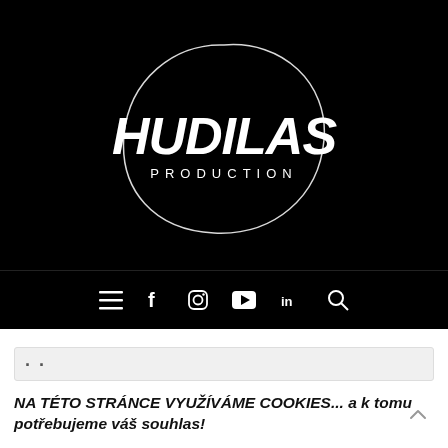[Figure (logo): Hudilas Production logo — white stylized text 'HUDILAS' with 'PRODUCTION' below, inside a hand-drawn circle outline, on black background]
[Figure (other): Navigation bar on black background with icons: hamburger menu, Facebook f, Instagram circle, YouTube play button rectangle, LinkedIn in, and search magnifier]
· ·
NA TÉTO STRÁNCE VYUŽÍVÁME COOKIES... a k tomu potřebujeme váš souhlas!
Používáme tzv. "cookies", abychom mohli upravit naše stránky tak,